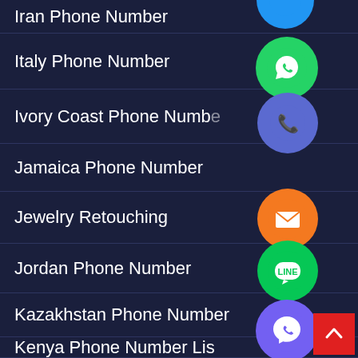Iran Phone Number
[Figure (illustration): Blue circle icon (partially visible at top)]
Italy Phone Number
[Figure (illustration): Green WhatsApp icon circle]
Ivory Coast Phone Number
[Figure (illustration): Blue/purple phone call icon circle]
Jamaica Phone Number
[Figure (illustration): Orange email/message icon circle]
Jewelry Retouching
Jordan Phone Number
[Figure (illustration): Green LINE app icon circle]
Kazakhstan Phone Number
[Figure (illustration): Purple Viber icon circle]
Kenya Phone Number List
Latvia Phone Number
[Figure (illustration): Green circle with X close button icon]
Lebanon Phone Number